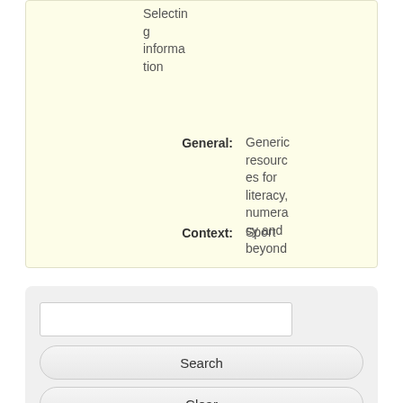Selecting information
General: Generic resources for literacy, numeracy and beyond
Context: Sport
Search
Clear